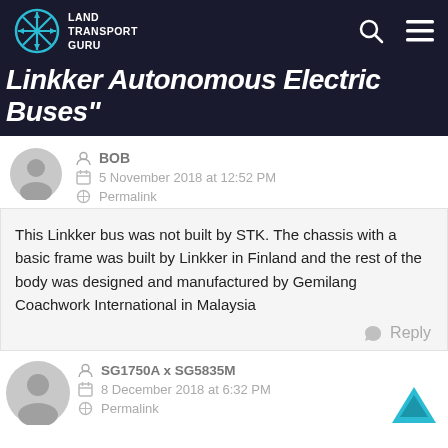Land Transport Guru
Linkker Autonomous Electric Buses"
BOB
5 November 2018 at 12:52 PM
Permalink
This Linkker bus was not built by STK. The chassis with a basic frame was built by Linkker in Finland and the rest of the body was designed and manufactured by Gemilang Coachwork International in Malaysia
Reply
SG1750A x SG5835M
8 December 2018 at 6:32 PM
Permalink